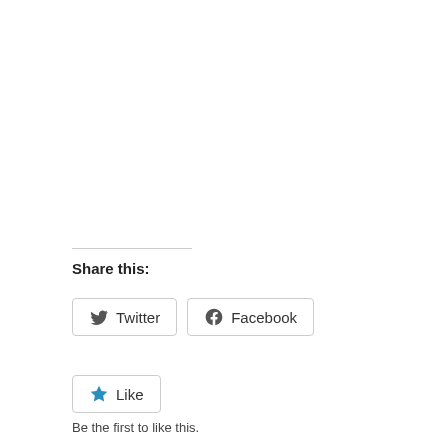Share this:
[Figure (other): Twitter and Facebook share buttons]
[Figure (other): Like button with star icon]
Be the first to like this.
Privacy & Cookies: This site uses cookies. By continuing to use this website, you agree to their use. To find out more, including how to control cookies, see here: Cookie Policy
Close and accept